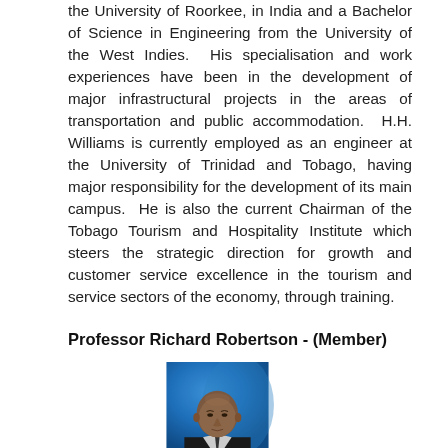the University of Roorkee, in India and a Bachelor of Science in Engineering from the University of the West Indies.  His specialisation and work experiences have been in the development of major infrastructural projects in the areas of transportation and public accommodation.  H.H. Williams is currently employed as an engineer at the University of Trinidad and Tobago, having major responsibility for the development of its main campus.  He is also the current Chairman of the Tobago Tourism and Hospitality Institute which steers the strategic direction for growth and customer service excellence in the tourism and service sectors of the economy, through training.
Professor Richard Robertson - (Member)
[Figure (photo): Professional headshot of Professor Richard Robertson, a bald man wearing a dark suit and tie, photographed against a blue background.]